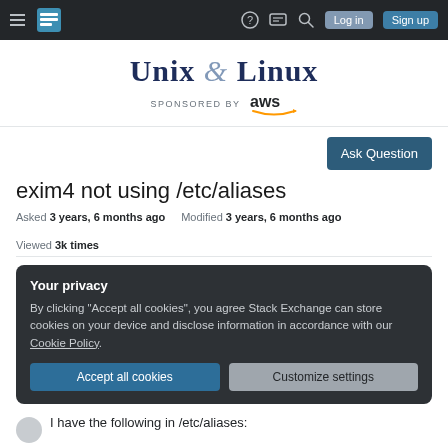Unix & Linux — Stack Exchange — Nav bar with Log in and Sign up
[Figure (logo): Unix & Linux Stack Exchange logo with AWS sponsorship]
Ask Question
exim4 not using /etc/aliases
Asked 3 years, 6 months ago   Modified 3 years, 6 months ago   Viewed 3k times
Your privacy
By clicking "Accept all cookies", you agree Stack Exchange can store cookies on your device and disclose information in accordance with our Cookie Policy.
Accept all cookies   Customize settings
I have the following in /etc/aliases: